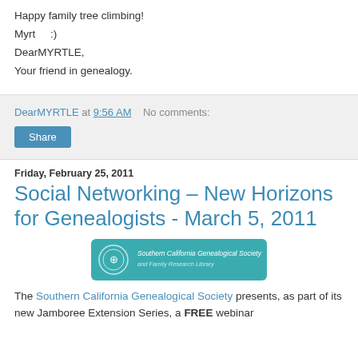Happy family tree climbing!
Myrt   :)
DearMYRTLE,
Your friend in genealogy.
DearMYRTLE at 9:56 AM   No comments:
Share
Friday, February 25, 2011
Social Networking – New Horizons for Genealogists - March 5, 2011
[Figure (logo): Southern California Genealogical Society and Family Research Library banner logo with teal/blue background]
The Southern California Genealogical Society presents, as part of its new Jamboree Extension Series, a FREE webinar